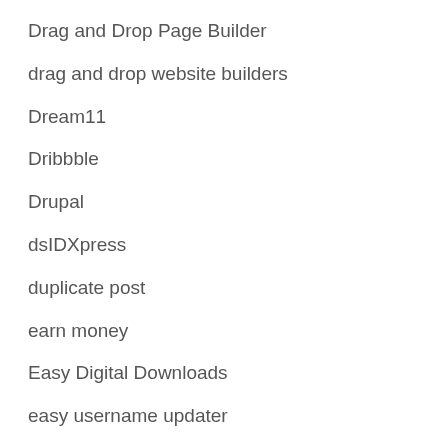Drag and Drop Page Builder
drag and drop website builders
Dream11
Dribbble
Drupal
dsIDXpress
duplicate post
earn money
Easy Digital Downloads
easy username updater
eBook
eCig & Vaping Themes